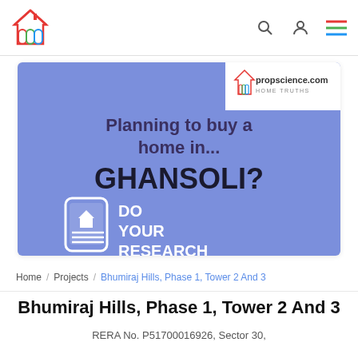[Figure (logo): Propscience.com home logo with colorful house icon]
[Figure (infographic): Promotional banner: Planning to buy a home in... GHANSOLI? DO YOUR RESEARCH — purple/blue background with propscience.com branding and phone/house icon]
Home / Projects / Bhumiraj Hills, Phase 1, Tower 2 And 3
Bhumiraj Hills, Phase 1, Tower 2 And 3
RERA No. P51700016926, Sector 30,